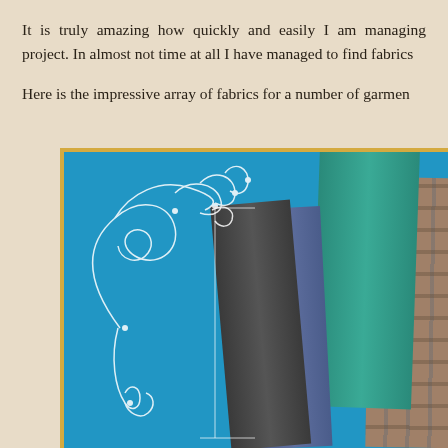It is truly amazing how quickly and easily I am managing project. In almost not time at all I have managed to find fabrics
Here is the impressive array of fabrics for a number of garmen
[Figure (photo): A photo showing an array of fabric pieces arranged in a fan/spread pattern against a bright blue background with white decorative swirl ornament in the top-left corner. Fabrics include dark charcoal/black, medium blue, teal/turquoise, brown plaid, and tan/caramel colored textiles.]